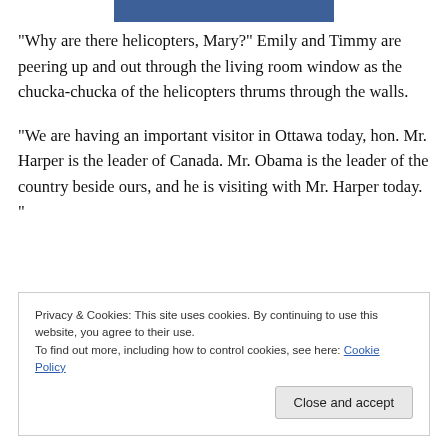[Figure (photo): Partial cropped photo of a person in a dark suit with blue tie, visible at the top of the page]
“Why are there helicopters, Mary?” Emily and Timmy are peering up and out through the living room window as the chucka-chucka of the helicopters thrums through the walls.
“We are having an important visitor in Ottawa today, hon. Mr. Harper is the leader of Canada. Mr. Obama is the leader of the country beside ours, and he is visiting with Mr. Harper today. ”
Privacy & Cookies: This site uses cookies. By continuing to use this website, you agree to their use.
To find out more, including how to control cookies, see here: Cookie Policy